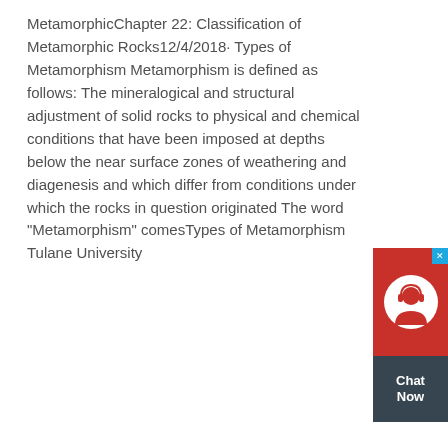MetamorphicChapter 22: Classification of Metamorphic Rocks12/4/2018· Types of Metamorphism Metamorphism is defined as follows: The mineralogical and structural adjustment of solid rocks to physical and chemical conditions that have been imposed at depths below the near surface zones of weathering and diagenesis and which differ from conditions under which the rocks in question originated The word "Metamorphism" comesTypes of Metamorphism Tulane University
[Figure (other): Chat widget with red background showing a customer service icon (headset/person) and a dark gray 'Chat Now' label below]
[Figure (other): Two buttons side by side: yellow 'Material' button and dark gray 'Application' button]
stone crusher 1000 1250